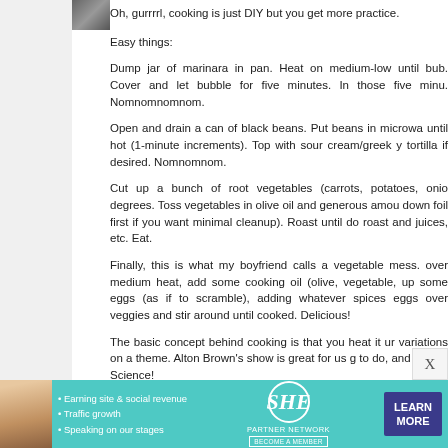[Figure (photo): Small avatar/profile photo thumbnail in top-left content area]
Oh, gurrrrl, cooking is just DIY but you get more practice.
Easy things:
Dump jar of marinara in pan. Heat on medium-low until bub. Cover and let bubble for five minutes. In those five minu. Nomnomnomnom.
Open and drain a can of black beans. Put beans in microwa until hot (1-minute increments). Top with sour cream/greek y tortilla if desired. Nomnomnom.
Cut up a bunch of root vegetables (carrots, potatoes, onio degrees. Toss vegetables in olive oil and generous amou down foil first if you want minimal cleanup). Roast until do roast and juices, etc. Eat.
Finally, this is what my boyfriend calls a vegetable mess. over medium heat, add some cooking oil (olive, vegetable, up some eggs (as if to scramble), adding whatever spices eggs over veggies and stir around until cooked. Delicious!
The basic concept behind cooking is that you heat it ur variations on a theme. Alton Brown's show is great for us g to do, and there's Science!
Reply
[Figure (infographic): SHE Partner Network advertisement banner with woman photo, bullet points about earning site & social revenue, traffic growth, speaking on our stages, SHE logo, LEARN MORE button]